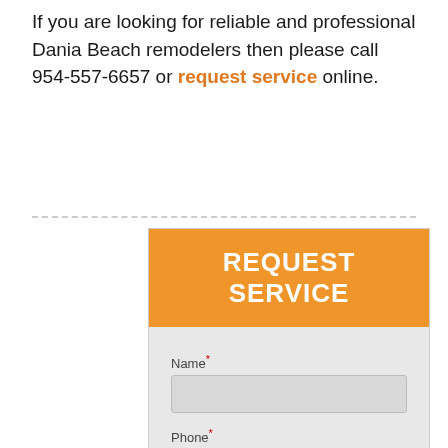If you are looking for reliable and professional Dania Beach remodelers then please call 954-557-6657 or request service online.
[Figure (other): Request Service web form with orange header, and fields for Name, Phone, and Email]
Name*
Phone*
Email*